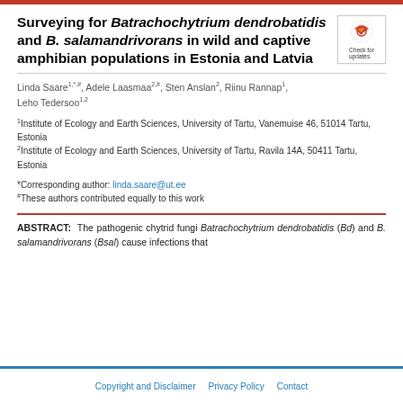Surveying for Batrachochytrium dendrobatidis and B. salamandrivorans in wild and captive amphibian populations in Estonia and Latvia
Linda Saare1,*,#, Adele Laasmaa2,#, Sten Anslan2, Riinu Rannap1, Leho Tedersoo1,2
1Institute of Ecology and Earth Sciences, University of Tartu, Vanemuise 46, 51014 Tartu, Estonia
2Institute of Ecology and Earth Sciences, University of Tartu, Ravila 14A, 50411 Tartu, Estonia
*Corresponding author: linda.saare@ut.ee
#These authors contributed equally to this work
ABSTRACT: The pathogenic chytrid fungi Batrachochytrium dendrobatidis (Bd) and B. salamandrivorans (Bsal) cause infections that
Copyright and Disclaimer   Privacy Policy   Contact